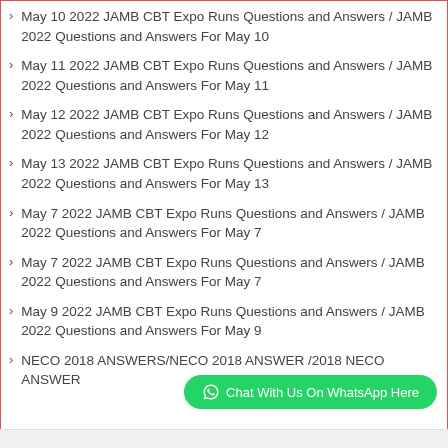May 10 2022 JAMB CBT Expo Runs Questions and Answers / JAMB 2022 Questions and Answers For May 10
May 11 2022 JAMB CBT Expo Runs Questions and Answers / JAMB 2022 Questions and Answers For May 11
May 12 2022 JAMB CBT Expo Runs Questions and Answers / JAMB 2022 Questions and Answers For May 12
May 13 2022 JAMB CBT Expo Runs Questions and Answers / JAMB 2022 Questions and Answers For May 13
May 7 2022 JAMB CBT Expo Runs Questions and Answers / JAMB 2022 Questions and Answers For May 7
May 7 2022 JAMB CBT Expo Runs Questions and Answers / JAMB 2022 Questions and Answers For May 7
May 9 2022 JAMB CBT Expo Runs Questions and Answers / JAMB 2022 Questions and Answers For May 9
NECO 2018 ANSWERS/NECO 2018 ANSWER /2018 NECO ANSWER